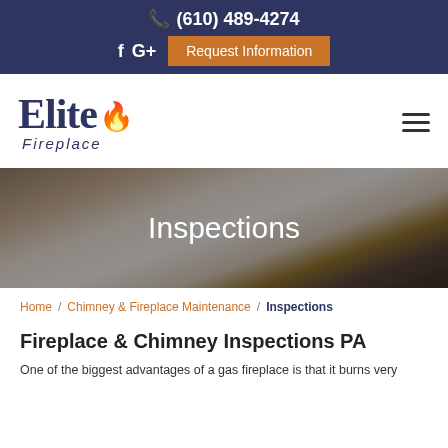(610) 489-4274
[Figure (logo): Elite Fireplace logo with flame icon and italic subtitle]
[Figure (photo): Hero image of a modern living room with a built-in fireplace, overlaid with semi-transparent dark tint]
Inspections
Home / Chimney & Fireplace Maintenance / Inspections
Fireplace & Chimney Inspections PA
One of the biggest advantages of a gas fireplace is that it burns very